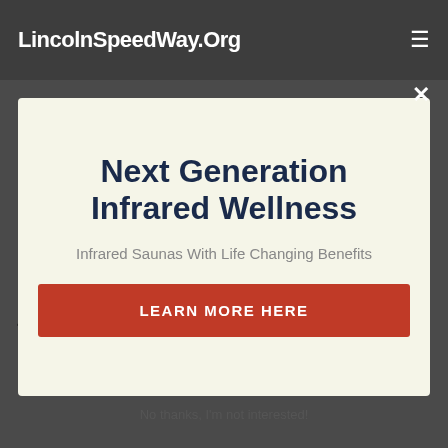LincolnSpeedWay.Org
Next Generation Infrared Wellness
Infrared Saunas With Life Changing Benefits
LEARN MORE HERE
just excessive for you to deal with, an infrared sauna may offer the advantages of a sauna without the extreme warm.
No thanks, I'm not interested!